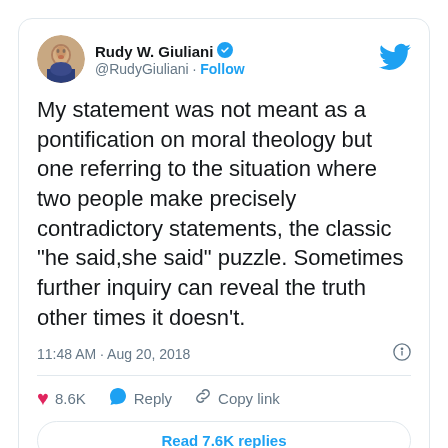[Figure (screenshot): Screenshot of a tweet by Rudy W. Giuliani (@RudyGiuliani) with verified badge, Follow button, Twitter bird logo, avatar photo, tweet text reading: 'My statement was not meant as a pontification on moral theology but one referring to the situation where two people make precisely contradictory statements, the classic “he said,she said” puzzle. Sometimes further inquiry can reveal the truth other times it doesn’t.', timestamp '11:48 AM · Aug 20, 2018', likes 8.6K, Reply, Copy link actions, and 'Read 7.6K replies' button.]
The view seems to be that if you have contradictory